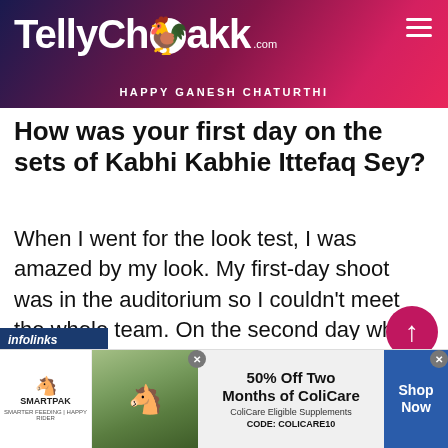TellyChakkar.com — HAPPY GANESH CHATURTHI
How was your first day on the sets of Kabhi Kabhie Ittefaq Sey?
When I went for the look test, I was amazed by my look. My first-day shoot was in the auditorium so I couldn't meet the whole team. On the second day when I met them, I was soo nervous and scared. The production team had aske
[Figure (screenshot): SmartPak advertisement banner with horse photo, 50% Off Two Months of ColiCare offer, CODE: COLICARE10, and Shop Now button]